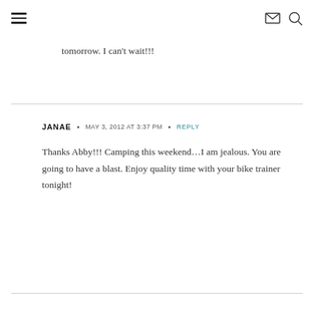≡ [mail icon] [search icon]
tomorrow. I can't wait!!!
JANAE • MAY 3, 2012 AT 3:37 PM • REPLY

Thanks Abby!!! Camping this weekend…I am jealous. You are going to have a blast. Enjoy quality time with your bike trainer tonight!